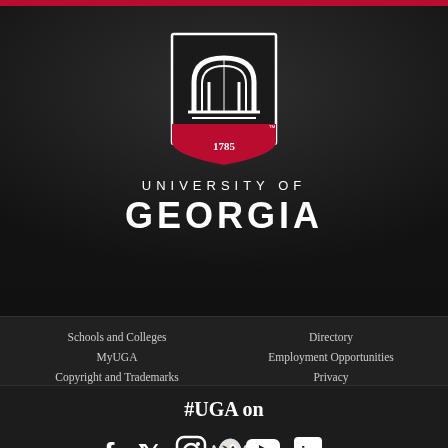[Figure (logo): University of Georgia shield logo with arch and 1785]
UNIVERSITY OF GEORGIA
Schools and Colleges | Directory | MyUGA | Employment Opportunities | Copyright and Trademarks | Privacy
#UGA on
[Figure (illustration): Social media icons: Facebook, Twitter, Instagram, Snapchat, YouTube, LinkedIn]